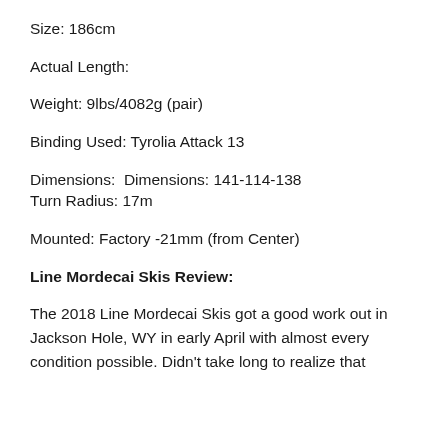Size: 186cm
Actual Length:
Weight: 9lbs/4082g (pair)
Binding Used: Tyrolia Attack 13
Dimensions:  Dimensions: 141-114-138
Turn Radius: 17m
Mounted: Factory -21mm (from Center)
Line Mordecai Skis Review:
The 2018 Line Mordecai Skis got a good work out in Jackson Hole, WY in early April with almost every condition possible. Didn't take long to realize that